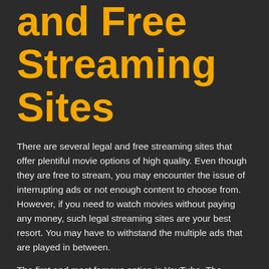and Free Streaming Sites
There are several legal and free streaming sites that offer plentiful movie options of high quality. Even though they are free to stream, you may encounter the issue of interrupting ads or not enough content to choose from. However, if you need to watch movies without paying any money, such legal streaming sites are your best resort. You may have to withstand the multiple ads that are played in between.
The first and most famous option is YouTube. The service offers a movie streaming site that is free of...